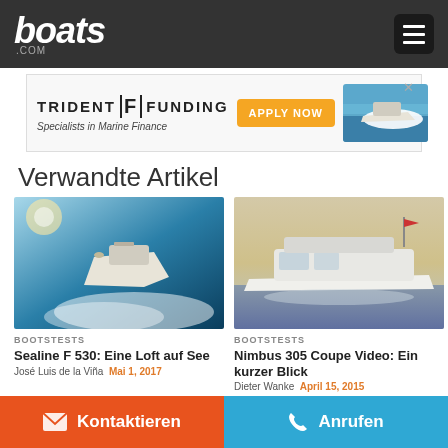boats.com
[Figure (screenshot): Trident Funding advertisement banner - Specialists in Marine Finance - APPLY NOW button with boat image]
Verwandte Artikel
[Figure (photo): Aerial view of white motor yacht speeding through blue water leaving a white wake]
BOOTSTESTS
Sealine F 530: Eine Loft auf See
José Luis de la Viña  Mai 1, 2017
[Figure (photo): White Nimbus 305 Coupe motorboat cruising on calm water at sunset]
BOOTSTESTS
Nimbus 305 Coupe Video: Ein kurzer Blick
Dieter Wanke  April 15, 2015
Kontaktieren   Anrufen